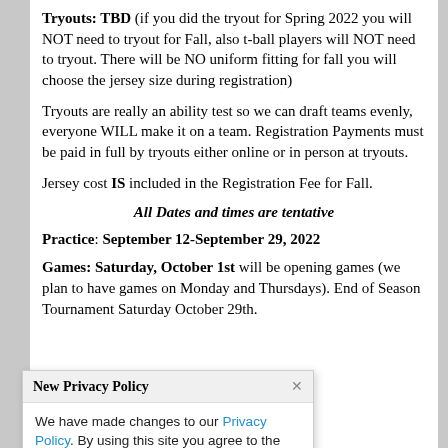Tryouts: TBD (if you did the tryout for Spring 2022 you will NOT need to tryout for Fall, also t-ball players will NOT need to tryout. There will be NO uniform fitting for fall you will choose the jersey size during registration)
Tryouts are really an ability test so we can draft teams evenly, everyone WILL make it on a team. Registration Payments must be paid in full by tryouts either online or in person at tryouts.
Jersey cost IS included in the Registration Fee for Fall.
All Dates and times are tentative
Practice: September 12-September 29, 2022
Games: Saturday, October 1st will be opening games (we plan to have games on Monday and Thursdays). End of Season Tournament Saturday October 29th.
New Privacy Policy
We have made changes to our Privacy Policy. By using this site you agree to the Privacy Policy and Terms of Service.